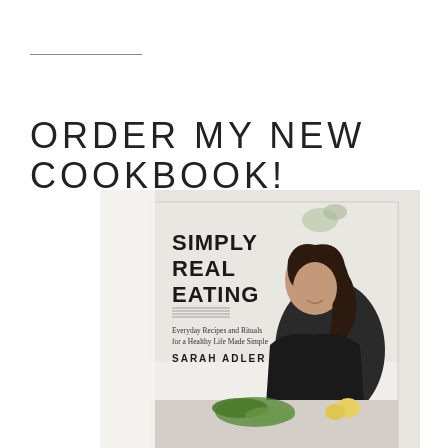ORDER MY NEW COOKBOOK!
[Figure (photo): Book cover of 'Simply Real Eating: Everyday Recipes and Rituals for a Healthy Life Made Simple' by Sarah Adler, showing a woman with dark hair smiling and working with food in a kitchen setting]